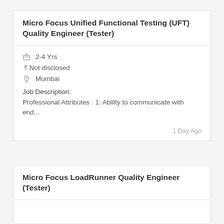Micro Focus Unified Functional Testing (UFT) Quality Engineer (Tester)
2-4 Yrs
₹ Not disclosed
Mumbai
Job Description:
Professional Attributes : 1: Ability to communicate with end...
1 Day Ago
Micro Focus LoadRunner Quality Engineer (Tester)